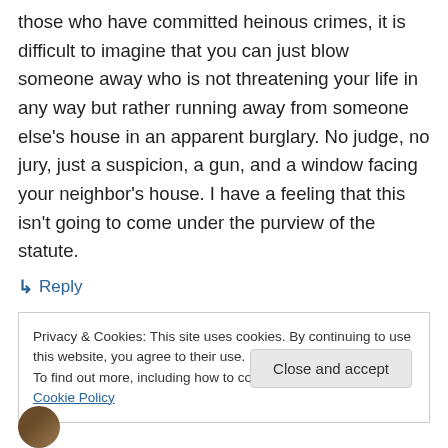those who have committed heinous crimes, it is difficult to imagine that you can just blow someone away who is not threatening your life in any way but rather running away from someone else's house in an apparent burglary. No judge, no jury, just a suspicion, a gun, and a window facing your neighbor's house. I have a feeling that this isn't going to come under the purview of the statute.
↳ Reply
Privacy & Cookies: This site uses cookies. By continuing to use this website, you agree to their use. To find out more, including how to control cookies, see here: Cookie Policy
Close and accept